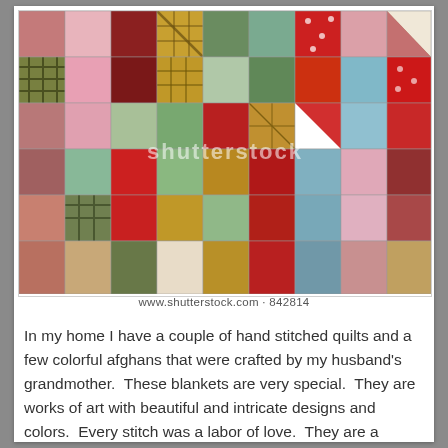[Figure (photo): Close-up photograph of a colorful patchwork quilt with many small fabric squares in various patterns including floral, plaid, and geometric designs in reds, greens, golds, and pinks. The image has a Shutterstock watermark.]
www.shutterstock.com · 842814
In my home I have a couple of hand stitched quilts and a few colorful afghans that were crafted by my husband's grandmother.  These blankets are very special.  They are works of art with beautiful and intricate designs and colors.  Every stitch was a labor of love.  They are a homespun piece of art, a gift from someone who loved us and comfort from someone we loved.  My husband's grandmother is gone from us, but we still snuggle up with her blankets and feel content